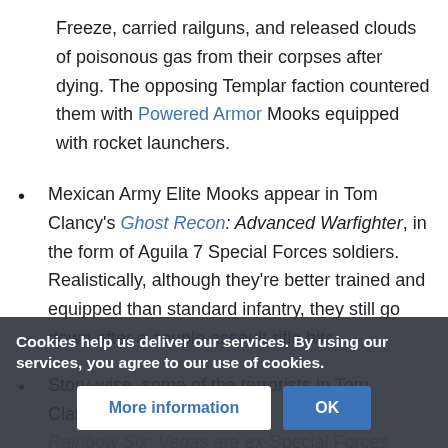Freeze, carried railguns, and released clouds of poisonous gas from their corpses after dying. The opposing Templar faction countered them with Powered Armor Mooks equipped with rocket launchers.
Mexican Army Elite Mooks appear in Tom Clancy's Ghost Recon: Advanced Warfighter, in the form of Aguila 7 Special Forces soldiers. Realistically, although they're better trained and equipped than standard infantry, they still go down after a couple assault rifle hits.
Story-wise, some of the terrorists in Tom Clancy's Rainbow Six: Vegas are ex-Special Forces mercenaries, while others are simply Mexican criminals working for Irena Morales. However, there's no actual distinction be... th use the
Cookies help us deliver our services. By using our services, you agree to our use of cookies.